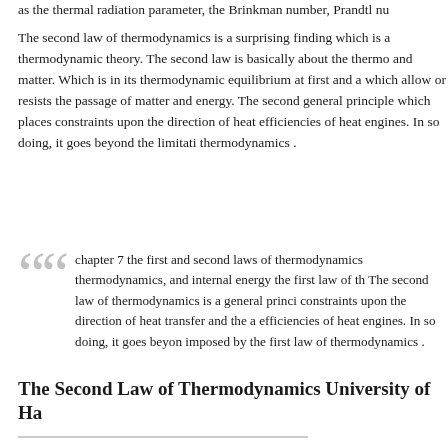as the thermal radiation parameter, the Brinkman number, Prandtl nu…
The second law of thermodynamics is a surprising finding which is a thermodynamic theory. The second law is basically about the thermo and matter. Which is in its thermodynamic equilibrium at first and an which allow or resists the passage of matter and energy. The second l general principle which places constraints upon the direction of heat efficiencies of heat engines. In so doing, it goes beyond the limitatio thermodynamics .
chapter 7 the first and second laws of thermodynamics thermodynamics, and internal energy the first law of th The second law of thermodynamics is a general princi constraints upon the direction of heat transfer and the a efficiencies of heat engines. In so doing, it goes beyon imposed by the first law of thermodynamics .
The Second Law of Thermodynamics University of Ha…